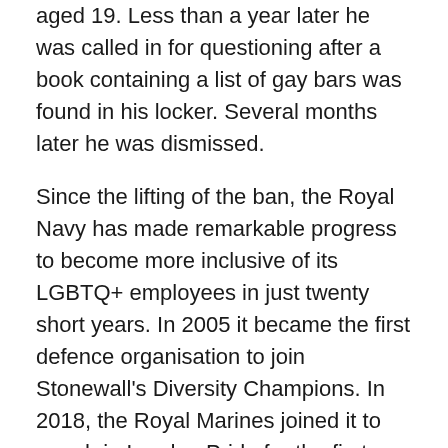aged 19. Less than a year later he was called in for questioning after a book containing a list of gay bars was found in his locker. Several months later he was dismissed.
Since the lifting of the ban, the Royal Navy has made remarkable progress to become more inclusive of its LGBTQ+ employees in just twenty short years. In 2005 it became the first defence organisation to join Stonewall's Diversity Champions. In 2018, the Royal Marines joined it to march in London Pride for the first time.
After lockdown, visit us at the Devonport Naval Heritage Centre to learn about queer history, see original documentation relating to Court Martials and discover the stories of naval personnel who have transitioned, in a collection of moving portraits by celebrated artist,